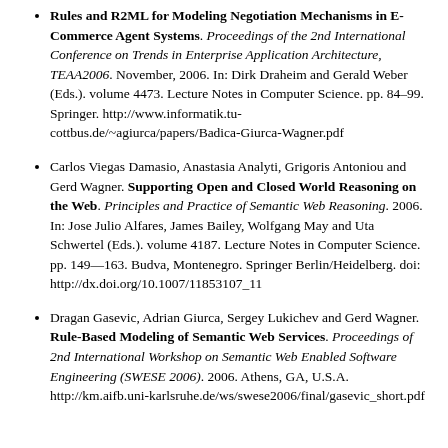Rules and R2ML for Modeling Negotiation Mechanisms in E-Commerce Agent Systems. Proceedings of the 2nd International Conference on Trends in Enterprise Application Architecture, TEAA2006. November, 2006. In: Dirk Draheim and Gerald Weber (Eds.). volume 4473. Lecture Notes in Computer Science. pp. 84–99. Springer. http://www.informatik.tu-cottbus.de/~agiurca/papers/Badica-Giurca-Wagner.pdf
Carlos Viegas Damasio, Anastasia Analyti, Grigoris Antoniou and Gerd Wagner. Supporting Open and Closed World Reasoning on the Web. Principles and Practice of Semantic Web Reasoning. 2006. In: Jose Julio Alfares, James Bailey, Wolfgang May and Uta Schwertel (Eds.). volume 4187. Lecture Notes in Computer Science. pp. 149—163. Budva, Montenegro. Springer Berlin/Heidelberg. doi: http://dx.doi.org/10.1007/11853107_11
Dragan Gasevic, Adrian Giurca, Sergey Lukichev and Gerd Wagner. Rule-Based Modeling of Semantic Web Services. Proceedings of 2nd International Workshop on Semantic Web Enabled Software Engineering (SWESE 2006). 2006. Athens, GA, U.S.A. http://km.aifb.uni-karlsruhe.de/ws/swese2006/final/gasevic_short.pdf